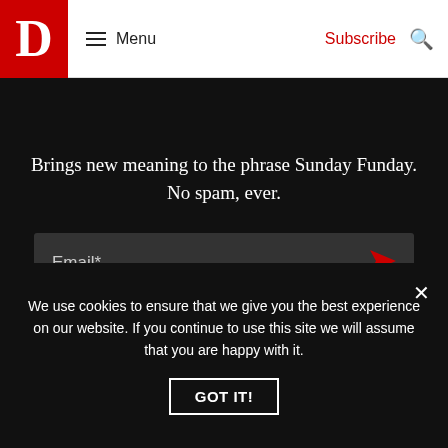D Menu | Subscribe
Brings new meaning to the phrase Sunday Funday. No spam, ever.
Email*
About
About Us
Our History
Careers
Internships
Magazines
D Magazine
D CEO
D Home
D Weddings
We use cookies to ensure that we give you the best experience on our website. If you continue to use this site we will assume that you are happy with it.
GOT IT!